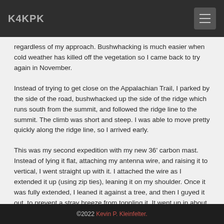K4KPK
regardless of my approach. Bushwhacking is much easier when cold weather has killed off the vegetation so I came back to try again in November.
Instead of trying to get close on the Appalachian Trail, I parked by the side of the road, bushwhacked up the side of the ridge which runs south from the summit, and followed the ridge line to the summit. The climb was short and steep. I was able to move pretty quickly along the ridge line, so I arrived early.
This was my second expedition with my new 36' carbon mast. Instead of lying it flat, attaching my antenna wire, and raising it to vertical, I went straight up with it. I attached the wire as I extended it up (using zip ties), leaning it on my shoulder. Once it was fully extended, I leaned it against a tree, and then I guyed it out, to prevent a stray breeze from toppling it. It went up in about 5 minutes, so now I was running way ahead of schedule.
©2022 Kevin P. Kleinfelter.